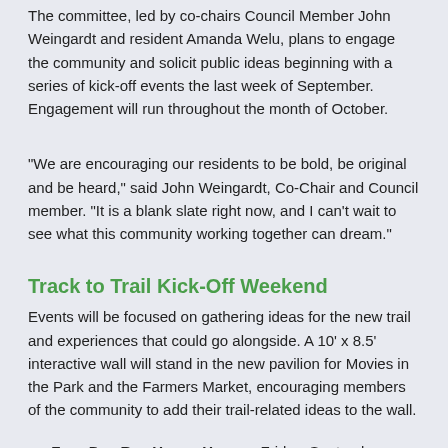The committee, led by co-chairs Council Member John Weingardt and resident Amanda Welu, plans to engage the community and solicit public ideas beginning with a series of kick-off events the last week of September. Engagement will run throughout the month of October.
"We are encouraging our residents to be bold, be original and be heard," said John Weingardt, Co-Chair and Council member. "It is a blank slate right now, and I can't wait to see what this community working together can dream."
Track to Trail Kick-Off Weekend
Events will be focused on gathering ideas for the new trail and experiences that could go alongside. A 10' x 8.5' interactive wall will stand in the new pavilion for Movies in the Park and the Farmers Market, encouraging members of the community to add their trail-related ideas to the wall.
Four Day Ray Happy Hour — Friday, September 28th, 4 to 6pm